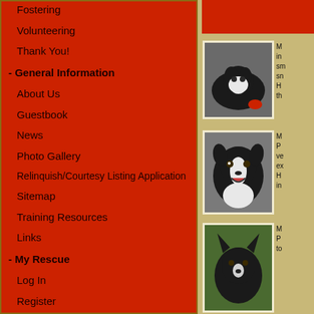Fostering
Volunteering
Thank You!
- General Information
About Us
Guestbook
News
Photo Gallery
Relinquish/Courtesy Listing Application
Sitemap
Training Resources
Links
- My Rescue
Log In
Register
Forms/Applications
Board Only
[Figure (photo): Black and white dog lying down with a toy]
M... in... sm... sn... H... th...
[Figure (photo): Black and white border collie smiling]
M... P... ve... ex... H... in...
[Figure (photo): Dark colored dog on grass]
M... P... to...